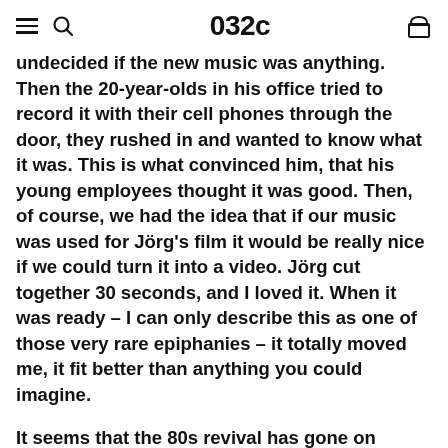032c
undecided if the new music was anything. Then the 20-year-olds in his office tried to record it with their cell phones through the door, they rushed in and wanted to know what it was. This is what convinced him, that his young employees thought it was good. Then, of course, we had the idea that if our music was used for Jörg's film it would be really nice if we could turn it into a video. Jörg cut together 30 seconds, and I loved it. When it was ready – I can only describe this as one of those very rare epiphanies – it totally moved me, it fit better than anything you could imagine.
It seems that the 80s revival has gone on